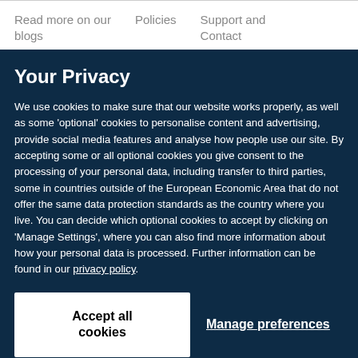Read more on our blogs   Policies   Support and Contact
Your Privacy
We use cookies to make sure that our website works properly, as well as some 'optional' cookies to personalise content and advertising, provide social media features and analyse how people use our site. By accepting some or all optional cookies you give consent to the processing of your personal data, including transfer to third parties, some in countries outside of the European Economic Area that do not offer the same data protection standards as the country where you live. You can decide which optional cookies to accept by clicking on 'Manage Settings', where you can also find more information about how your personal data is processed. Further information can be found in our privacy policy.
Accept all cookies
Manage preferences